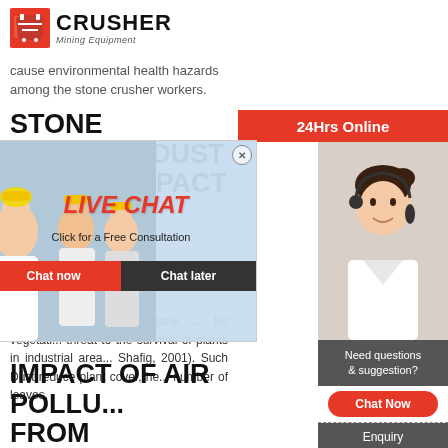[Figure (logo): Crusher Mining Equipment logo with red shopping bag icon and bold CRUSHER text]
cause environmental health hazards among the stone crusher workers.
STONE CRUSHER DUST AND ITS IMPACT ON TREE SPECI...
Apr 09, 201... from stone ... for vegetati... threat to the survival of plants in industrial area... Shafig, 2001). Such Dust reduce plant cover, he... number of leaves.
IMPACT OF AIR POLLU... FROM QUARRYING AN... STONE CUTTING ...
[Figure (screenshot): Live chat popup with construction workers in hard hats, LIVE CHAT label in red, Click for a Free Consultation text, Chat now and Chat later buttons]
[Figure (photo): Female operator wearing headset for live chat customer service]
24Hrs Online
Need questions & suggestion?
Chat Now
Enquiry
limingjlmofen@sina.com